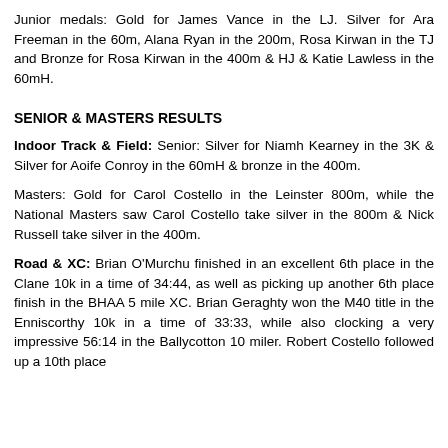Junior medals: Gold for James Vance in the LJ. Silver for Ara Freeman in the 60m, Alana Ryan in the 200m, Rosa Kirwan in the TJ and Bronze for Rosa Kirwan in the 400m & HJ & Katie Lawless in the 60mH.
SENIOR & MASTERS RESULTS
Indoor Track & Field: Senior: Silver for Niamh Kearney in the 3K & Silver for Aoife Conroy in the 60mH & bronze in the 400m.
Masters: Gold for Carol Costello in the Leinster 800m, while the National Masters saw Carol Costello take silver in the 800m & Nick Russell take silver in the 400m.
Road & XC: Brian O'Murchu finished in an excellent 6th place in the Clane 10k in a time of 34:44, as well as picking up another 6th place finish in the BHAA 5 mile XC. Brian Geraghty won the M40 title in the Enniscorthy 10k in a time of 33:33, while also clocking a very impressive 56:14 in the Ballycotton 10 miler. Robert Costello followed up a 10th place